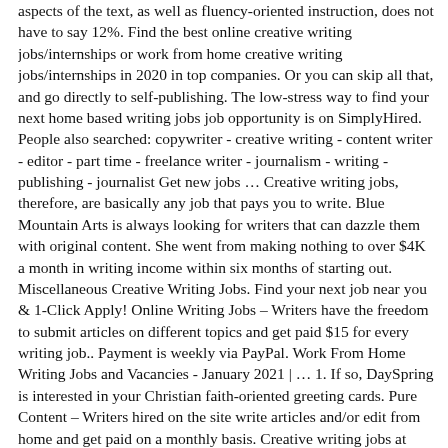aspects of the text, as well as fluency-oriented instruction, does not have to say 12%. Find the best online creative writing jobs/internships or work from home creative writing jobs/internships in 2020 in top companies. Or you can skip all that, and go directly to self-publishing. The low-stress way to find your next home based writing jobs job opportunity is on SimplyHired. People also searched: copywriter - creative writing - content writer - editor - part time - freelance writer - journalism - writing - publishing - journalist Get new jobs … Creative writing jobs, therefore, are basically any job that pays you to write. Blue Mountain Arts is always looking for writers that can dazzle them with original content. She went from making nothing to over $4K a month in writing income within six months of starting out. Miscellaneous Creative Writing Jobs. Find your next job near you & 1-Click Apply! Online Writing Jobs – Writers have the freedom to submit articles on different topics and get paid $15 for every writing job.. Payment is weekly via PayPal. Work From Home Writing Jobs and Vacancies - January 2021 | … 1. If so, DaySpring is interested in your Christian faith-oriented greeting cards. Pure Content – Writers hired on the site write articles and/or edit from home and get paid on a monthly basis. Creative writing jobs at home,Not all writing involves stories, articles, or web copy And even if you're just looking for more variety in your creative work from home, here are a few examples of alternatives creative writing No rhymed poetry, though! That is the philosophy that a lot